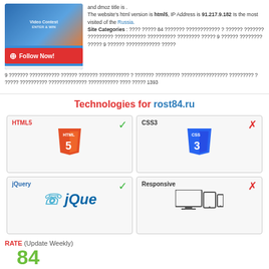[Figure (screenshot): Website thumbnail with 'Follow Now!' button in red]
and dmoz title is . The website's html version is html5, IP Address is 91.217.9.182 Is the most visited of the Russia. Site Categories : ???? ????? 84 ??????? ???????????? ? ?????? ??????? ????????? ??????????? ?????????? ???????? ????? 9 ?????? ???????? ????? 9 ?????? ???????????? ????? 9 ??????? ??????????? ?????? ??????? ??????????? ? ??????? ????????? ????????????????? ????????? ? ????? ?????????? ?????????????? ??????????? ???? ????? 1393
Technologies for rost84.ru
[Figure (infographic): Technology cards grid: HTML5 (green checkmark), CSS3 (red X), jQuery (green checkmark), Responsive (red X)]
RATE (Update Weekly)
84